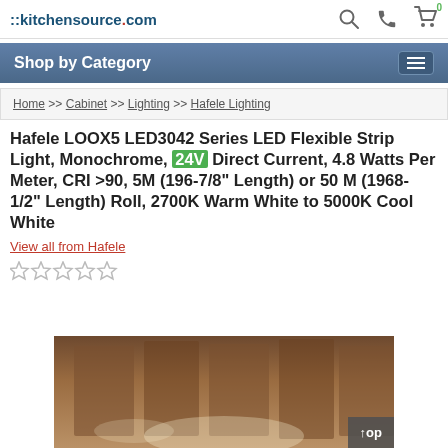::kitchensource.com
Shop by Category
Home >> Cabinet >> Lighting >> Hafele Lighting
Hafele LOOX5 LED3042 Series LED Flexible Strip Light, Monochrome, 24V Direct Current, 4.8 Watts Per Meter, CRI >90, 5M (196-7/8" Length) or 50 M (1968-1/2" Length) Roll, 2700K Warm White to 5000K Cool White
View all from Hafele
[Figure (other): Five empty star rating icons]
[Figure (photo): Product photo showing LED strip lighting installed on wooden ceiling beams, warm ambient lighting visible]